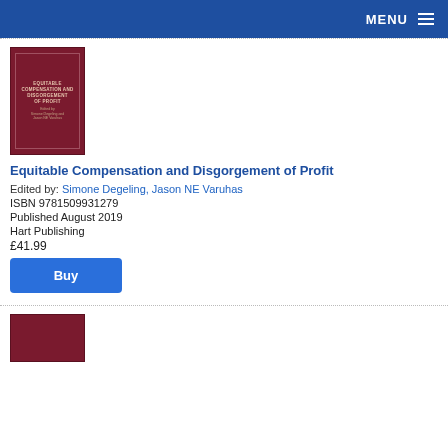MENU
[Figure (illustration): Book cover for 'Equitable Compensation and Disgorgement of Profit', dark red/maroon cover with gold border, edited by Simone Degeling and Jason NE Varuhas, Hart Publishing]
Equitable Compensation and Disgorgement of Profit
Edited by: Simone Degeling, Jason NE Varuhas
ISBN 9781509931279
Published August 2019
Hart Publishing
£41.99
Buy
[Figure (illustration): Partial view of another book cover, also dark red/maroon, partially cut off at bottom of page]